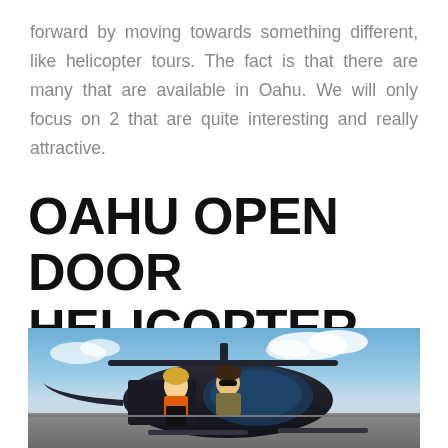forward by moving towards something different, like helicopter tours. The fact is that there are many that are available in Oahu. We will only focus on 2 that are quite interesting and really attractive.
OAHU OPEN DOOR HELICOPTER TOUR
[Figure (photo): Two people sitting in an open-door helicopter on a tarmac under a partly cloudy blue sky. The helicopter is dark/black colored. People are wearing life vests/safety gear.]